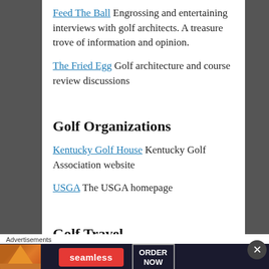Feed The Ball Engrossing and entertaining interviews with golf architects. A treasure trove of information and opinion.
The Fried Egg Golf architecture and course review discussions
Golf Organizations
Kentucky Golf House Kentucky Golf Association website
USGA The USGA homepage
Golf Travel
GolfTripX A great resource for all things golf
Advertisements